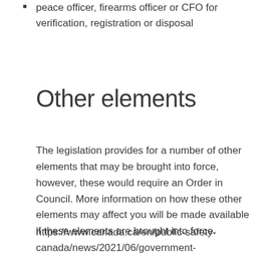peace officer, firearms officer or CFO for verification, registration or disposal
Other elements
The legislation provides for a number of other elements that may be brought into force, however, these would require an Order in Council. More information on how these other elements may affect you will be made available if these elements are brought into force.
https://www.canada.ca/en/public-safety-canada/news/2021/06/government-